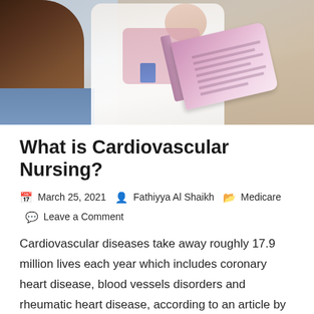[Figure (photo): A healthcare professional in a white coat holding and reading from a pink/purple medical book or pamphlet, sitting across from a patient with long brown hair. Clinical or office setting.]
What is Cardiovascular Nursing?
March 25, 2021  Fathiyya Al Shaikh  Medicare  Leave a Comment
Cardiovascular diseases take away roughly 17.9 million lives each year which includes coronary heart disease, blood vessels disorders and rheumatic heart disease, according to an article by World Health Organization. The key risk factors include diabetes, poor diet, high blood